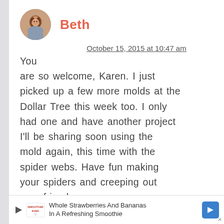[Figure (photo): Circular avatar photo of a woman with curly brown hair]
Beth
October 15, 2015 at 10:47 am
You are so welcome, Karen. I just picked up a few more molds at the Dollar Tree this week too. I only had one and have another project I'll be sharing soon using the mold again, this time with the spider webs. Have fun making your spiders and creeping out your friends.
[Figure (infographic): Advertisement banner: Whole Strawberries And Bananas In A Refreshing Smoothie, with Smoothie King logo and blue arrow button]